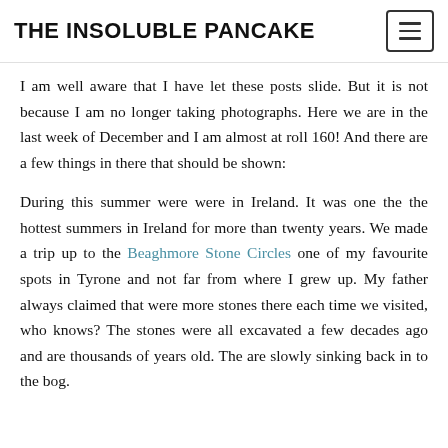THE INSOLUBLE PANCAKE
I am well aware that I have let these posts slide. But it is not because I am no longer taking photographs. Here we are in the last week of December and I am almost at roll 160! And there are a few things in there that should be shown:
During this summer were were in Ireland. It was one the the hottest summers in Ireland for more than twenty years. We made a trip up to the Beaghmore Stone Circles one of my favourite spots in Tyrone and not far from where I grew up. My father always claimed that were more stones there each time we visited, who knows? The stones were all excavated a few decades ago and are thousands of years old. The are slowly sinking back in to the bog.